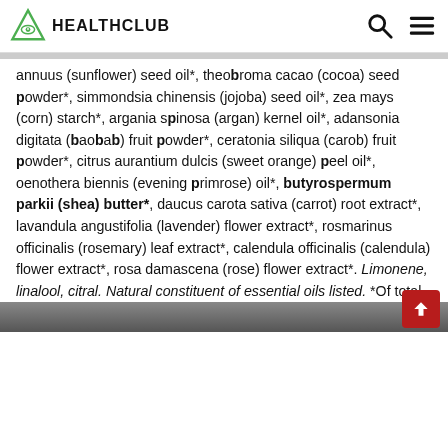HEALTHCLUB
annuus (sunflower) seed oil*, theobroma cacao (cocoa) seed powder*, simmondsia chinensis (jojoba) seed oil*, zea mays (corn) starch*, argania spinosa (argan) kernel oil*, adansonia digitata (baobab) fruit powder*, ceratonia siliqua (carob) fruit powder*, citrus aurantium dulcis (sweet orange) peel oil*, oenothera biennis (evening primrose) oil*, butyrospermum parkii (shea) butter*, daucus carota sativa (carrot) root extract*, lavandula angustifolia (lavender) flower extract*, rosmarinus officinalis (rosemary) leaf extract*, calendula officinalis (calendula) flower extract*, rosa damascena (rose) flower extract*. Limonene, linalool, citral. Natural constituent of essential oils listed. *Of total ingredients: 100% organic.